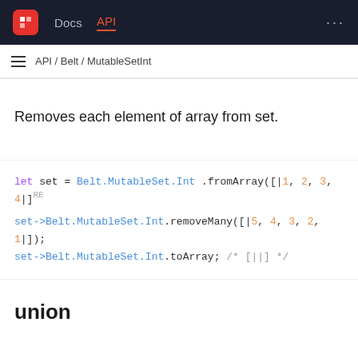Docs | API
API / Belt / MutableSetInt
Removes each element of array from set.
let set = Belt.MutableSet.Int.fromArray([|1, 2, 3, 4|])
set->Belt.MutableSet.Int.removeMany([|5, 4, 3, 2, 1|]);
set->Belt.MutableSet.Int.toArray; /* [||] */
union